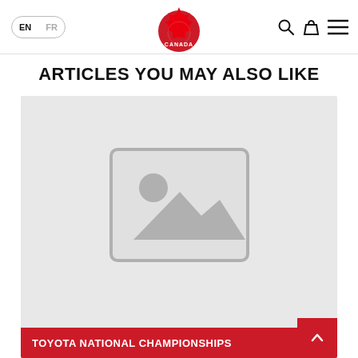EN FR — Canada Soccer logo — search, bag, menu icons
ARTICLES YOU MAY ALSO LIKE
[Figure (photo): Article card with placeholder image (grey background with image placeholder icon) and red label bar reading TOYOTA NATIONAL CHAMPIONSHIPS]